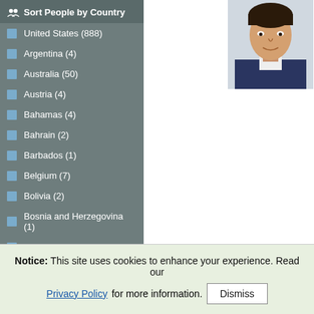Sort People by Country
United States (888)
Argentina (4)
Australia (50)
Austria (4)
Bahamas (4)
Bahrain (2)
Barbados (1)
Belgium (7)
Bolivia (2)
Bosnia and Herzegovina (1)
Brazil (5)
Brunei Darussalam (2)
[Figure (photo): Headshot of a man in a suit with a white background]
Notice: This site uses cookies to enhance your experience. Read our Privacy Policy for more information.